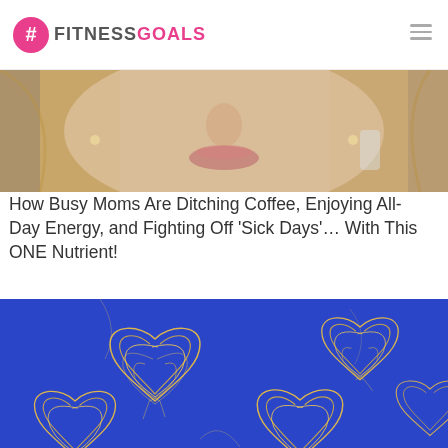#FITNESSGOALS
[Figure (photo): Close-up photo of a blonde woman's face, cropped to show nose, lips, and chin area]
How Busy Moms Are Ditching Coffee, Enjoying All-Day Energy, and Fighting Off 'Sick Days'… With This ONE Nutrient!
[Figure (illustration): Illustration of heart-shaped pasta noodle bundles on a bright blue background, repeated pattern]